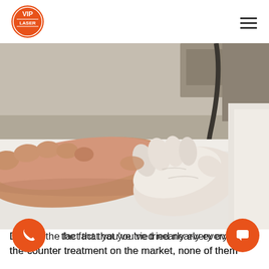VIP LASER (logo) | hamburger menu
[Figure (photo): A medical professional wearing white latex gloves examining or treating a patient's bare foot, which rests on a white surface/table. Medical equipment visible in the background. Clinical setting suggesting laser or podiatric treatment.]
Despite the fact that you've tried nearly every over-the-counter treatment on the market, none of them